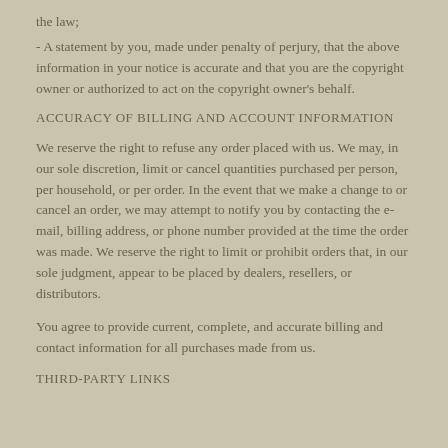the law;
- A statement by you, made under penalty of perjury, that the above information in your notice is accurate and that you are the copyright owner or authorized to act on the copyright owner's behalf.
ACCURACY OF BILLING AND ACCOUNT INFORMATION
We reserve the right to refuse any order placed with us. We may, in our sole discretion, limit or cancel quantities purchased per person, per household, or per order. In the event that we make a change to or cancel an order, we may attempt to notify you by contacting the e-mail, billing address, or phone number provided at the time the order was made. We reserve the right to limit or prohibit orders that, in our sole judgment, appear to be placed by dealers, resellers, or distributors.
You agree to provide current, complete, and accurate billing and contact information for all purchases made from us.
THIRD-PARTY LINKS